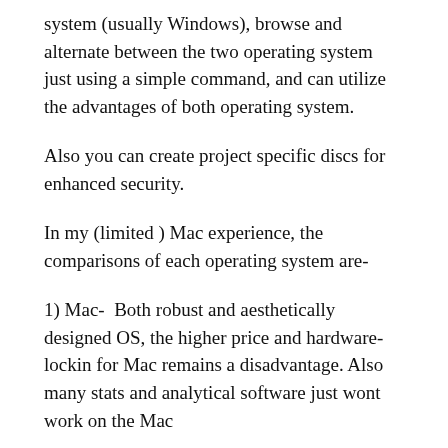system (usually Windows), browse and alternate between the two operating system just using a simple command, and can utilize the advantages of both operating system.
Also you can create project specific discs for enhanced security.
In my (limited ) Mac experience, the comparisons of each operating system are-
1) Mac-  Both robust and aesthetically designed OS, the higher price and hardware-lockin for Mac remains a disadvantage. Also many stats and analytical software just wont work on the Mac